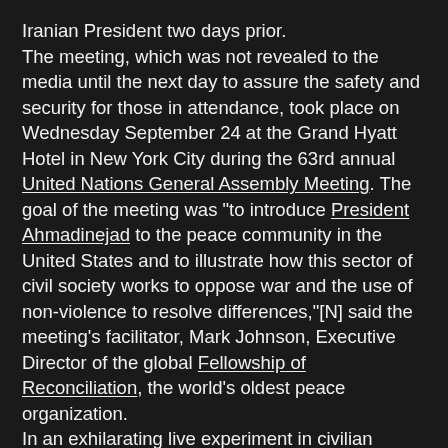Iranian President two days prior. The meeting, which was not revealed to the media until the next day to assure the safety and security for those in attendance, took place on Wednesday September 24 at the Grand Hyatt Hotel in New York City during the 63rd annual United Nations General Assembly Meeting. The goal of the meeting was "to introduce President Ahmadinejad to the peace community in the United States and to illustrate how this sector of civil society works to oppose war and the use of non-violence to resolve differences,"[N] said the meeting's facilitator, Mark Johnson, Executive Director of the global Fellowship of Reconciliation, the world's oldest peace organization. In an exhilarating live experiment in civilian diplomacy in action, the ballroom of the Grand Hyatt Hotel was transformed into a veritable who's who of some of the most outspoken and prominent members of America's peace, anti-war, and human rights organizations, including